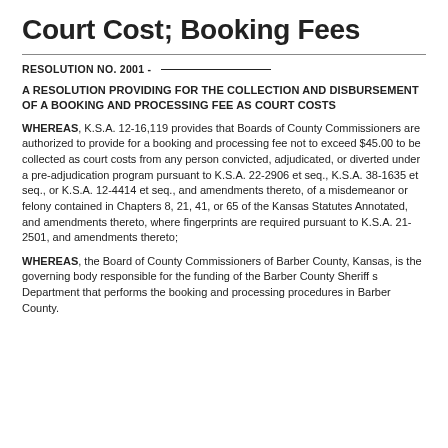Court Cost; Booking Fees
RESOLUTION NO. 2001 -
A RESOLUTION PROVIDING FOR THE COLLECTION AND DISBURSEMENT OF A BOOKING AND PROCESSING FEE AS COURT COSTS
WHEREAS, K.S.A. 12-16,119 provides that Boards of County Commissioners are authorized to provide for a booking and processing fee not to exceed $45.00 to be collected as court costs from any person convicted, adjudicated, or diverted under a pre-adjudication program pursuant to K.S.A. 22-2906 et seq., K.S.A. 38-1635 et seq., or K.S.A. 12-4414 et seq., and amendments thereto, of a misdemeanor or felony contained in Chapters 8, 21, 41, or 65 of the Kansas Statutes Annotated, and amendments thereto, where fingerprints are required pursuant to K.S.A. 21-2501, and amendments thereto;
WHEREAS, the Board of County Commissioners of Barber County, Kansas, is the governing body responsible for the funding of the Barber County Sheriff s Department that performs the booking and processing procedures in Barber County.